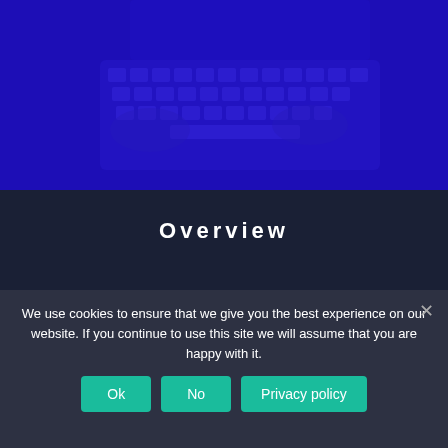[Figure (photo): Blue-tinted photo of hands typing on a laptop keyboard]
Overview
How we work
Our clients
We use cookies to ensure that we give you the best experience on our website. If you continue to use this site we will assume that you are happy with it.
Ok
No
Privacy policy